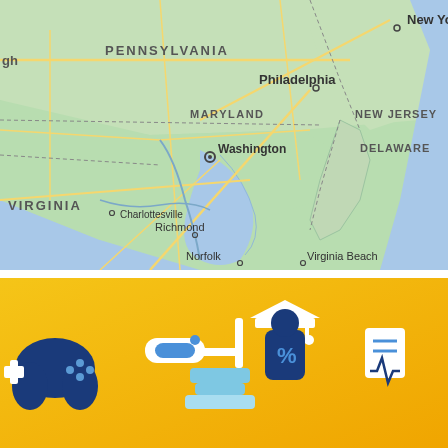[Figure (map): Map of the Mid-Atlantic and Northeast United States showing states Pennsylvania, Maryland, Virginia, New Jersey, Delaware, and cities including New York, Philadelphia, Washington, Charlottesville, Richmond, Norfolk, Virginia Beach. Land is light green with yellow road lines; water (Atlantic Ocean, Chesapeake Bay) is blue.]
[Figure (illustration): Yellow/golden background illustration showing stylized flat icons of a game controller, a paint roller, a graduation cap figure holding a percent symbol, and various other activity/education/health related icons in dark blue, light blue, and white colors.]